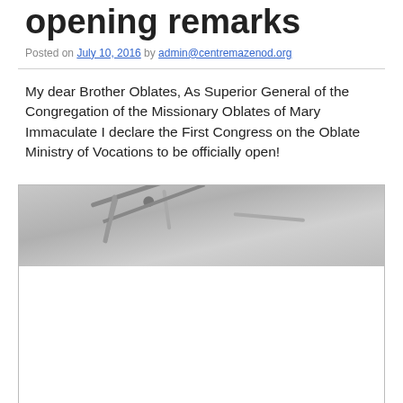opening remarks
Posted on July 10, 2016 by admin@centremazenod.org
My dear Brother Oblates, As Superior General of the Congregation of the Missionary Oblates of Mary Immaculate I declare the First Congress on the Oblate Ministry of Vocations to be officially open!
[Figure (photo): A partially visible photograph showing what appears to be a ceiling or architectural detail, with light gray tones. The bottom portion of the image container is white/empty.]